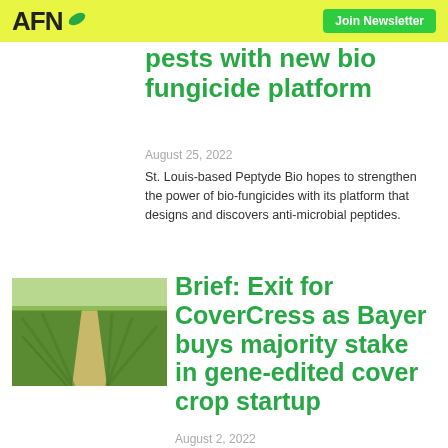AFN | Join Newsletter
pests with new bio fungicide platform
August 25, 2022
St. Louis-based Peptyde Bio hopes to strengthen the power of bio-fungicides with its platform that designs and discovers anti-microbial peptides.
[Figure (photo): Aerial view of a green crop field with a path running through the center]
Brief: Exit for CoverCress as Bayer buys majority stake in gene-edited cover crop startup
August 2, 2022